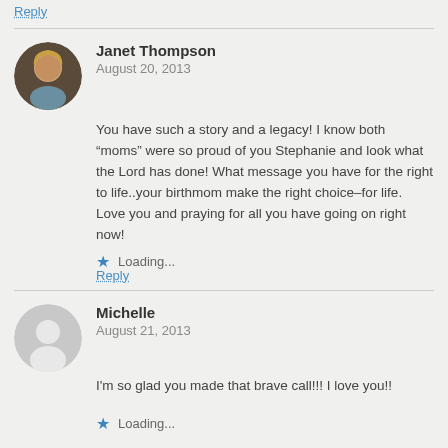Reply
Janet Thompson
August 20, 2013
[Figure (photo): Circular profile photo of Janet Thompson, a woman with blonde hair smiling]
You have such a story and a legacy! I know both “moms” were so proud of you Stephanie and look what the Lord has done! What message you have for the right to life..your birthmom make the right choice–for life. Love you and praying for all you have going on right now!
★ Loading...
Reply
Michelle
August 21, 2013
[Figure (illustration): Circular default grey avatar with white person silhouette icon for Michelle]
I'm so glad you made that brave call!!! I love you!!
★ Loading...